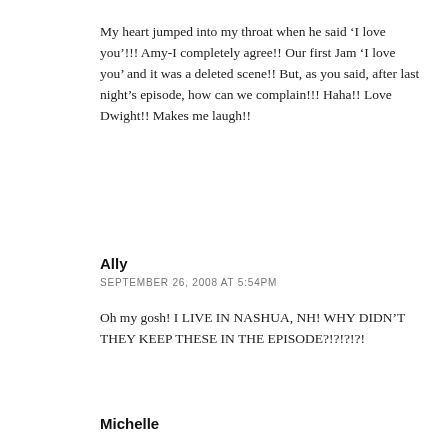My heart jumped into my throat when he said ‘I love you’!!! Amy-I completely agree!! Our first Jam ‘I love you’ and it was a deleted scene!! But, as you said, after last night’s episode, how can we complain!!! Haha!! Love Dwight!! Makes me laugh!!
Ally
SEPTEMBER 26, 2008 AT 5:54PM
Oh my gosh! I LIVE IN NASHUA, NH! WHY DIDN’T THEY KEEP THESE IN THE EPISODE?!?!?!?!
Michelle